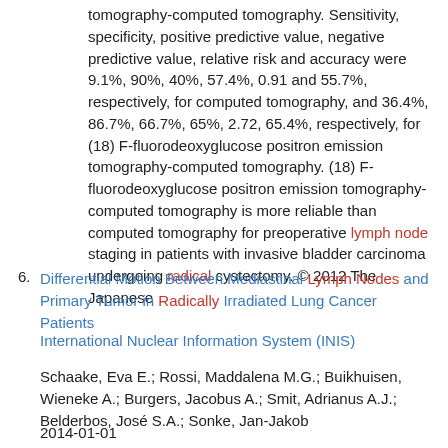tomography-computed tomography. Sensitivity, specificity, positive predictive value, negative predictive value, relative risk and accuracy were 9.1%, 90%, 40%, 57.4%, 0.91 and 55.7%, respectively, for computed tomography, and 36.4%, 86.7%, 66.7%, 65%, 2.72, 65.4%, respectively, for (18) F-fluorodeoxyglucose positron emission tomography-computed tomography. (18) F-fluorodeoxyglucose positron emission tomography-computed tomography is more reliable than computed tomography for preoperative lymph node staging in patients with invasive bladder carcinoma undergoing radical cystectomy. © 2012 The Japanese
6. Differential Motion Between Mediastinal Lymph Nodes and Primary Tumor in Radically Irradiated Lung Cancer Patients
International Nuclear Information System (INIS)
Schaake, Eva E.; Rossi, Maddalena M.G.; Buikhuisen, Wieneke A.; Burgers, Jacobus A.; Smit, Adrianus A.J.; Belderbos, José S.A.; Sonke, Jan-Jakob
2014-01-01
Purpose/Objective: In patients with locally advanced lung